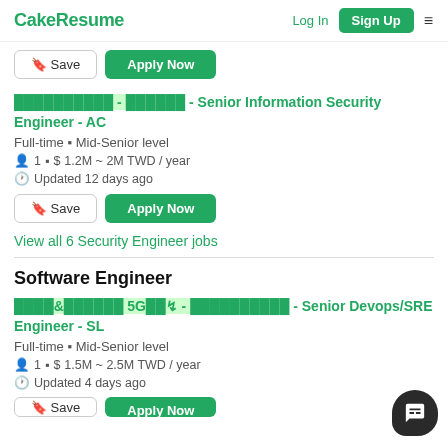CakeResume | Log In | Sign Up
Save | Apply Now (partial top)
XXXXXXXXXX - XXXXXX - Senior Information Security Engineer - AC
Full-time | Mid-Senior level
1 | $ 1.2M ~ 2M TWD / year
Updated 12 days ago
Save | Apply Now
View all 6 Security Engineer jobs
Software Engineer
XXXX&XXXXXX 5GXX↯ - XXXXXXXXXX - Senior Devops/SRE Engineer - SL
Full-time | Mid-Senior level
1 | $ 1.5M ~ 2.5M TWD / year
Updated 4 days ago
Save | Apply Now (partial bottom)